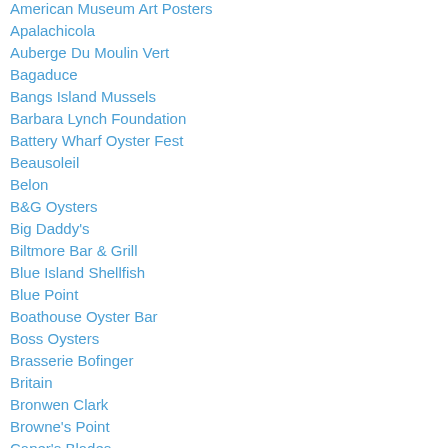American Museum Art Posters
Apalachicola
Auberge Du Moulin Vert
Bagaduce
Bangs Island Mussels
Barbara Lynch Foundation
Battery Wharf Oyster Fest
Beausoleil
Belon
B&G Oysters
Big Daddy's
Biltmore Bar & Grill
Blue Island Shellfish
Blue Point
Boathouse Oyster Bar
Boss Oysters
Brasserie Bofinger
Britain
Bronwen Clark
Browne's Point
Caper's Blades